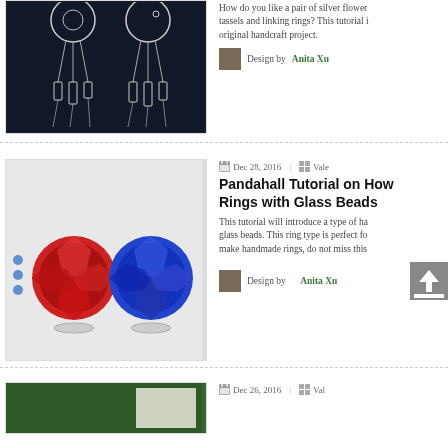[Figure (photo): Silver flower earrings with tassels and linking rings on dark background]
How do you like a pair of silver flower tassels and linking rings? This tutorial i original handcraft project.
Design by Anita Xu
[Figure (photo): Red and blue glass bead rings on white surface]
Dec 28, 2016 | Vale
Pandahall Tutorial on How Rings with Glass Beads
This tutorial will introduce a type of ha glass beads. This ring type is perfect fo make handmade rings, do not miss this
Design by Anita Xu
[Figure (photo): Partial photo of a craft project]
Dec 26, 2016 | Val